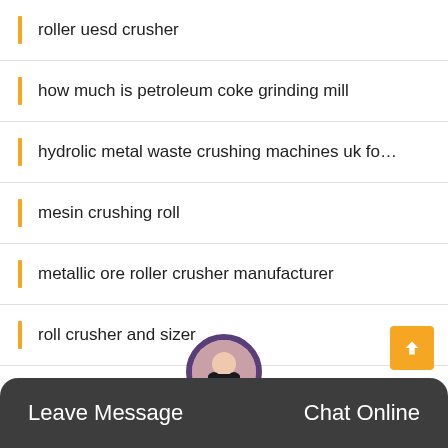roller uesd crusher
how much is petroleum coke grinding mill
hydrolic metal waste crushing machines uk fo...
mesin crushing roll
metallic ore roller crusher manufacturer
roll crusher and sizer
machine manufacturer price plastic waste pyr...
Leave Message   Chat Online